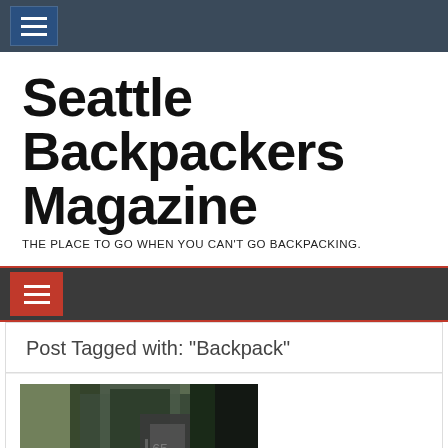Seattle Backpackers Magazine navigation menu
Seattle Backpackers Magazine
THE PLACE TO GO WHEN YOU CAN'T GO BACKPACKING.
Post Tagged with: "Backpack"
[Figure (photo): Photo of a person wearing a large backpack outdoors among trees]